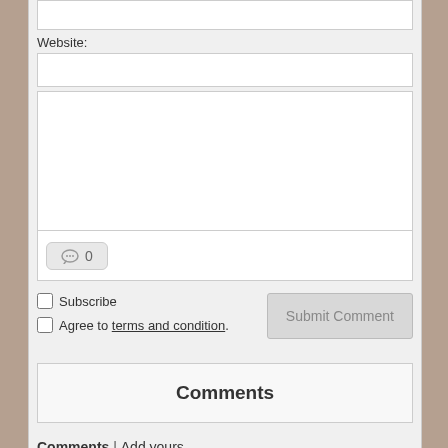Website:
0
Subscribe
Agree to terms and condition.
Submit Comment
Comments
Comments | Add yours
Sort by Oldest First    Sort by Latest First